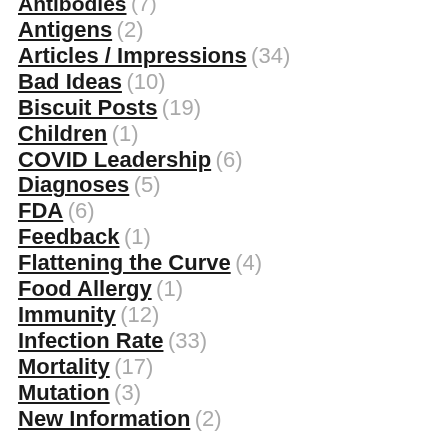Antibodies (7)
Antigens (2)
Articles / Impressions (34)
Bad Ideas (10)
Biscuit Posts (19)
Children (1)
COVID Leadership (6)
Diagnoses (5)
FDA (6)
Feedback (1)
Flattening the Curve (4)
Food Allergy (1)
Immunity (12)
Infection Rate (33)
Mortality (17)
Mutation (3)
New Information (2)